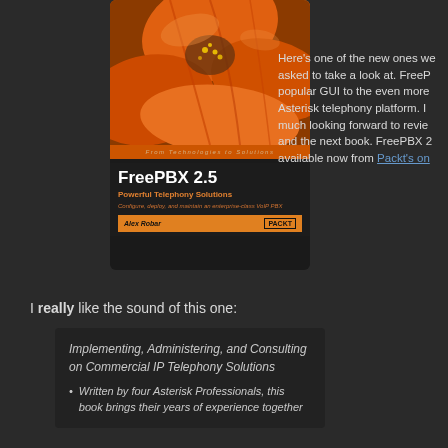[Figure (photo): Book cover for FreePBX 2.5 - Powerful Telephony Solutions by Alex Robar, published by Packt. Cover shows orange flower petals.]
FreePBX 2.5
Here's one of the new ones we asked to take a look at. FreePBX popular GUI to the even more Asterisk telephony platform. I much looking forward to review and the next book. FreePBX 2 available now from Packt's on
I really like the sound of this one:
Implementing, Administering, and Consulting on Commercial IP Telephony Solutions
Written by four Asterisk Professionals, this book brings their years of experience together
[Figure (photo): Book cover for Asterisk 1.4 published by Packt. Cover shows a white flower against dark background.]